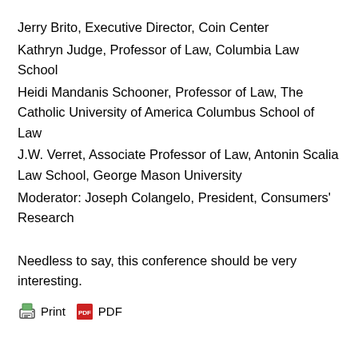Jerry Brito, Executive Director, Coin Center
Kathryn Judge, Professor of Law, Columbia Law School
Heidi Mandanis Schooner, Professor of Law, The Catholic University of America Columbus School of Law
J.W. Verret, Associate Professor of Law, Antonin Scalia Law School, George Mason University
Moderator: Joseph Colangelo, President, Consumers' Research
Needless to say, this conference should be very interesting.
[Figure (other): Print and PDF buttons/icons]